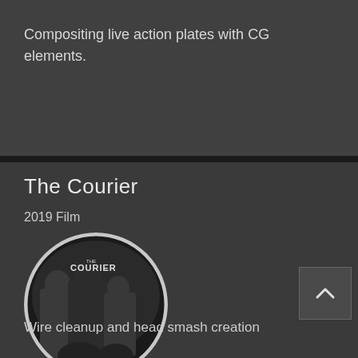Compositing live action plates with CG elements.
The Courier
2019 Film
[Figure (photo): Circular cropped movie poster for 'The Courier' (2019 film) showing two male figures and a female figure on a motorcycle in black and white style, with the title 'THE COURIER' visible]
Wire cleanup and head smash creation